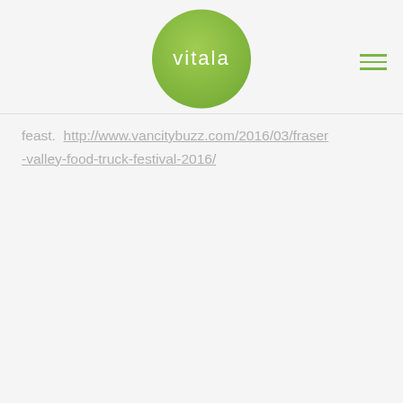[Figure (logo): Vitala green circular logo with white text 'vitala' in the center]
feast.  http://www.vancitybuzz.com/2016/03/fraser-valley-food-truck-festival-2016/